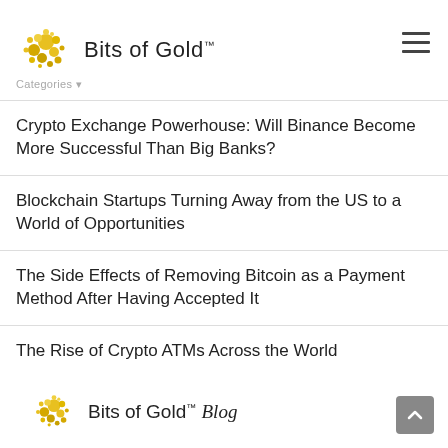Bits of Gold™
Crypto Exchange Powerhouse: Will Binance Become More Successful Than Big Banks?
Blockchain Startups Turning Away from the US to a World of Opportunities
The Side Effects of Removing Bitcoin as a Payment Method After Having Accepted It
The Rise of Crypto ATMs Across the World
Bits of Gold™ Blog